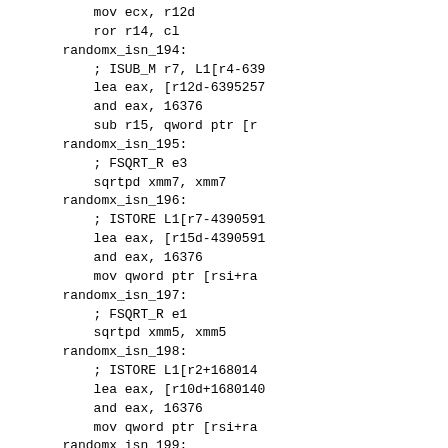mov ecx, r12d
            ror r14, cl
        randomx_isn_194:
            ; ISUB_M r7, L1[r4-639525
            lea eax, [r12d-6395257
            and eax, 16376
            sub r15, qword ptr [r
        randomx_isn_195:
            ; FSQRT_R e3
            sqrtpd xmm7, xmm7
        randomx_isn_196:
            ; ISTORE L1[r7-43905959
            lea eax, [r15d-43905959
            and eax, 16376
            mov qword ptr [rsi+ra
        randomx_isn_197:
            ; FSQRT_R e1
            sqrtpd xmm5, xmm5
        randomx_isn_198:
            ; ISTORE L1[r2+168014
            lea eax, [r10d+1680140
            and eax, 16376
            mov qword ptr [rsi+ra
        randomx_isn_199:
            ; FSWAP_R f3
            shufpd xmm3, xmm3, 1
        randomx_isn_200:
            ; FMUL_R e1, a0
            mulpd xmm5, xmm8
        randomx_isn_201:
            ; FADD_R f1, a0
            addpd xmm1, xmm8